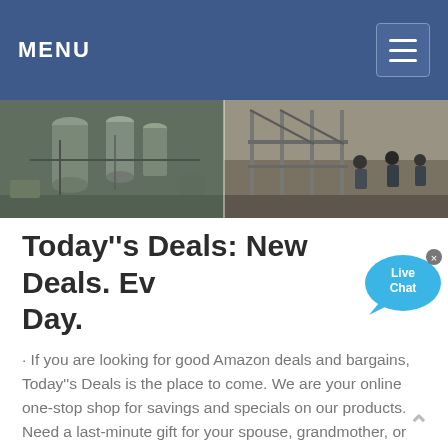MENU
[Figure (photo): Banner with two industrial/factory scene photos side by side: left shows large industrial machinery/tanks, right shows workers on scaffolding at a construction site.]
Today"s Deals: New Deals. Every Day.
[Figure (infographic): Live Chat speech bubble icon in sky blue with 'Live Chat' text and a small 'x' close button at top right.]
· If you are looking for good Amazon deals and bargains, Today"s Deals is the place to come. We are your online one-stop shop for savings and specials on our products. Need a last-minute gift for your spouse, grandmother, or co-worker? You can find great deals ...